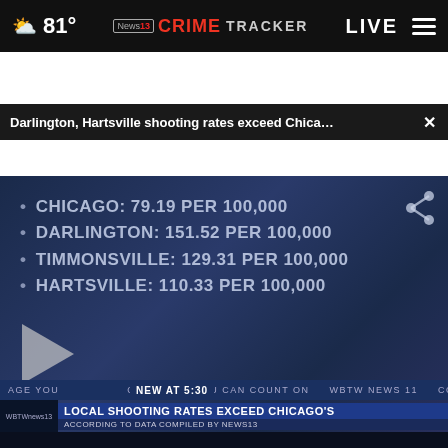81° | News13 CRIME TRACKER | LIVE
Darlington, Hartsville shooting rates exceed Chica... ×
[Figure (screenshot): News broadcast video still showing shooting rate statistics on a dark blue background. Stats: CHICAGO: 79.19 PER 100,000 | DARLINGTON: 151.52 PER 100,000 | TIMMONSVILLE: 129.31 PER 100,000 | HARTSVILLE: 110.33 PER 100,000. Lower third reads: LOCAL SHOOTING RATES EXCEED CHICAGO'S / ACCORDING TO DATA COMPILED BY NEWS13. Station bug: WBTWnews13.]
[Figure (screenshot): Advertisement for Carrier HVAC via Carolina Cool. Phone number 843-238-5805, CarolinaCool.com. Services: HVAC · PLUMBING · ELECTRICAL · SOLAR · AIR QUALITY. Shows NEIGHBOR branding and mascots.]